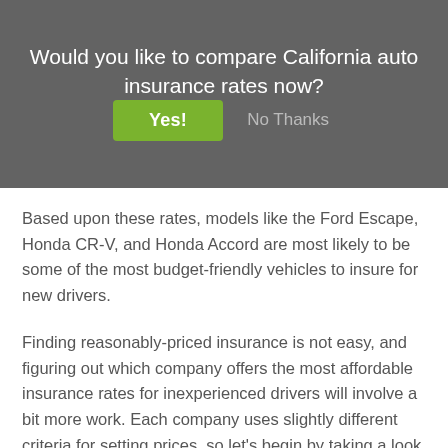Would you like to compare California auto insurance rates now?
Yes!
No Thanks
Based upon these rates, models like the Ford Escape, Honda CR-V, and Honda Accord are most likely to be some of the most budget-friendly vehicles to insure for new drivers.
Finding reasonably-priced insurance is not easy, and figuring out which company offers the most affordable insurance rates for inexperienced drivers will involve a bit more work. Each company uses slightly different criteria for setting prices, so let's begin by taking a look at the most budget-friendly insurance companies in Chula Vista, CA.